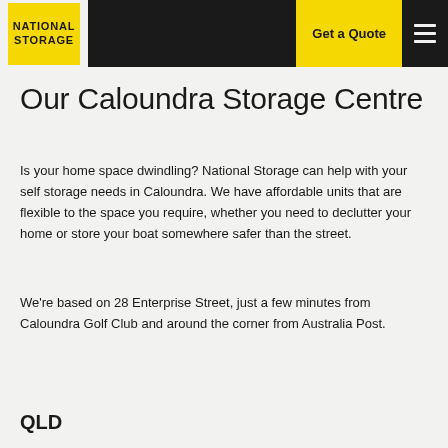Get a Quote
[Figure (logo): National Storage logo — yellow square with black text reading NATIONAL STORAGE]
Our Caloundra Storage Centre
Is your home space dwindling? National Storage can help with your self storage needs in Caloundra. We have affordable units that are flexible to the space you require, whether you need to declutter your home or store your boat somewhere safer than the street.
We're based on 28 Enterprise Street, just a few minutes from Caloundra Golf Club and around the corner from Australia Post.
QLD